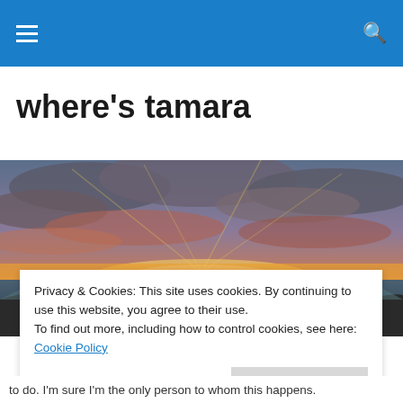Navigation bar with hamburger menu and search icon
where's tamara
[Figure (photo): Panoramic beach sunset photo with dramatic cloudy sky, orange and pink horizon over water and sand]
Privacy & Cookies: This site uses cookies. By continuing to use this website, you agree to their use.
To find out more, including how to control cookies, see here: Cookie Policy
to do. I'm sure I'm the only person to whom this happens.